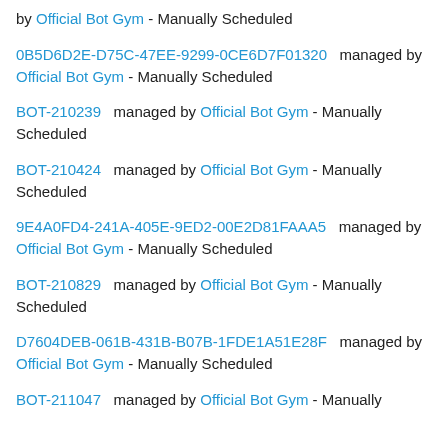by Official Bot Gym - Manually Scheduled
0B5D6D2E-D75C-47EE-9299-0CE6D7F01320   managed by Official Bot Gym - Manually Scheduled
BOT-210239   managed by Official Bot Gym - Manually Scheduled
BOT-210424   managed by Official Bot Gym - Manually Scheduled
9E4A0FD4-241A-405E-9ED2-00E2D81FAAA5   managed by Official Bot Gym - Manually Scheduled
BOT-210829   managed by Official Bot Gym - Manually Scheduled
D7604DEB-061B-431B-B07B-1FDE1A51E28F   managed by Official Bot Gym - Manually Scheduled
BOT-211047   managed by Official Bot Gym - Manually